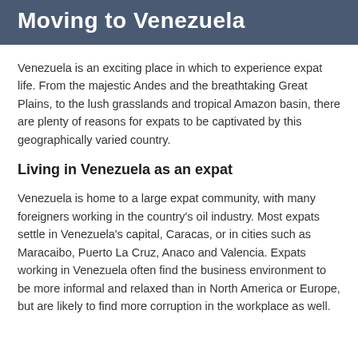Moving to Venezuela
Venezuela is an exciting place in which to experience expat life. From the majestic Andes and the breathtaking Great Plains, to the lush grasslands and tropical Amazon basin, there are plenty of reasons for expats to be captivated by this geographically varied country.
Living in Venezuela as an expat
Venezuela is home to a large expat community, with many foreigners working in the country's oil industry. Most expats settle in Venezuela's capital, Caracas, or in cities such as Maracaibo, Puerto La Cruz, Anaco and Valencia. Expats working in Venezuela often find the business environment to be more informal and relaxed than in North America or Europe, but are likely to find more corruption in the workplace as well.